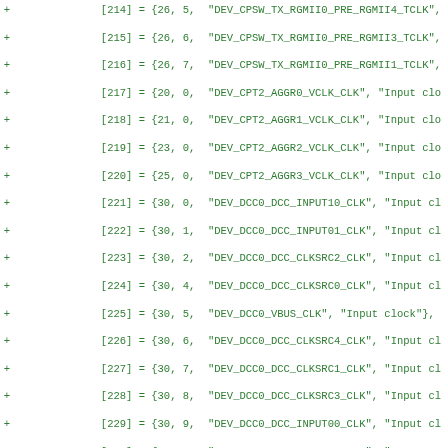Code diff listing lines 214-245 showing device clock definitions as C array initializers with device IDs, indices, and string labels for clock sources.